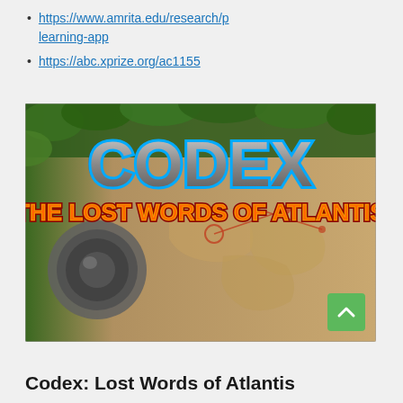https://www.amrita.edu/research/p learning-app
https://abc.xprize.org/ac1155
[Figure (screenshot): Screenshot of the game 'CODEX: THE LOST WORDS OF ATLANTIS' showing the game title in large metallic blue and orange lettering over a background of jungle foliage and a vintage map with a mechanical device on the left.]
Codex: Lost Words of Atlantis